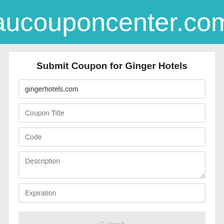aucouponcenter.com
Submit Coupon for Ginger Hotels
gingerhotels.com
Coupon Title
Code
Description
Expiration
Submit
Ginger Hotels Stats